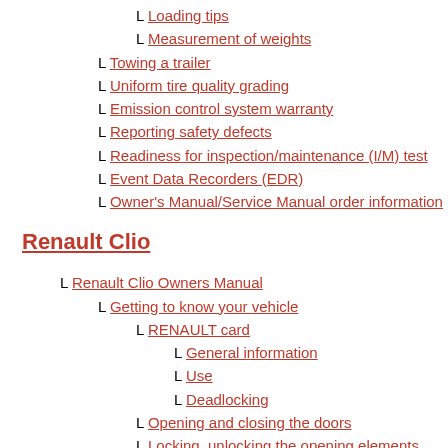L Loading tips
L Measurement of weights
L Towing a trailer
L Uniform tire quality grading
L Emission control system warranty
L Reporting safety defects
L Readiness for inspection/maintenance (I/M) test
L Event Data Recorders (EDR)
L Owner's Manual/Service Manual order information
Renault Clio
L Renault Clio Owners Manual
L Getting to know your vehicle
L RENAULT card
L General information
L Use
L Deadlocking
L Opening and closing the doors
L Locking, unlocking the opening elements
L Renault anti-intruder device (raid)
L Front headrests
L Front seats
L Seat belts
L Additional methods of restraint
L To the front seat belts